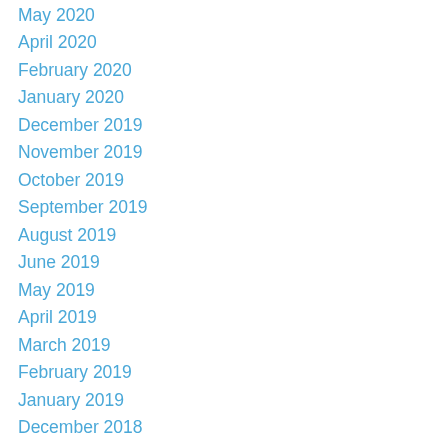May 2020
April 2020
February 2020
January 2020
December 2019
November 2019
October 2019
September 2019
August 2019
June 2019
May 2019
April 2019
March 2019
February 2019
January 2019
December 2018
November 2018
October 2018
September 2018
August 2018